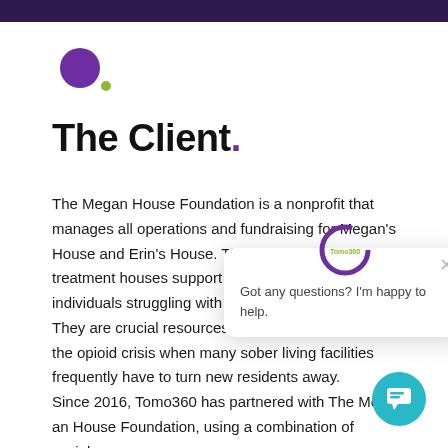[Figure (logo): Two circles — a large purple circle and a small green dot — forming a logo]
The Client.
The Megan House Foundation is a nonprofit that manages all operations and fundraising for Megan's House and Erin's House. These residential treatment houses support the recovery of individuals struggling with substance use disorders. They are crucial resources to the community during the opioid crisis when many sober living facilities frequently have to turn new residents away.
Since 2016, Tomo360 has partnered with The Megan House Foundation, using a combination of social
[Figure (screenshot): Chat widget popup with Tomo360 logo and message: Got any questions? I'm happy to help. With a close X button and teal chat bubble button.]